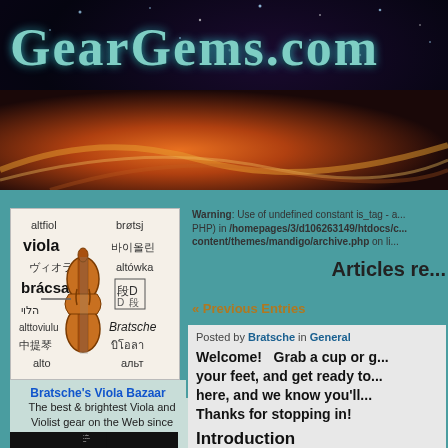GearGems.com
Eclectic designs printed on gifts & apparel just for you – a cut above the r...
[Figure (illustration): Viola instrument with multilingual words for viola around it: altfiol, brøtsj, viola, 바이올린, ヴィオラ, altówka, brácsa, הלוי, alttoviulu, Bratsche, 中提琴, บิโอลา, alto, альт]
Bratsche's Viola Bazaar
The best & brightest Viola and Violist gear on the Web since 2004!
[Figure (photo): Black background with man in suit, italic text: Life is a lot like jazz-]
Warning: Use of undefined constant is_tag - a... PHP) in /homepages/3/d106263149/htdocs/c... content/themes/mandigo/archive.php on li...
Articles re...
« Previous Entries
Posted by Bratsche in General
Welcome!   Grab a cup or g... your feet, and get ready to... here, and we know you'll... Thanks for stopping in!
Introduction